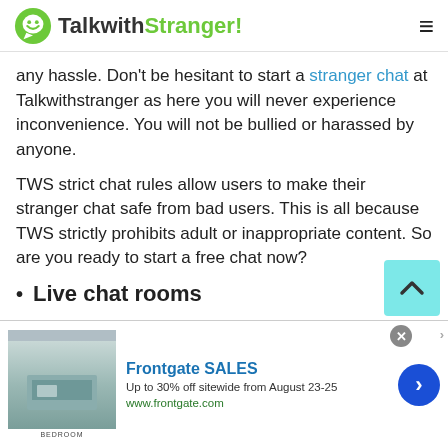TalkwithStranger!
any hassle. Don't be hesitant to start a stranger chat at Talkwithstranger as here you will never experience inconvenience. You will not be bullied or harassed by anyone.
TWS strict chat rules allow users to make their stranger chat safe from bad users. This is all because TWS strictly prohibits adult or inappropriate content. So are you ready to start a free chat now?
Live chat rooms
[Figure (screenshot): Frontgate SALES advertisement banner: Up to 30% off sitewide from August 23-25. www.frontgate.com. Shows bedroom image on left, text in center, blue arrow button on right, close X button.]